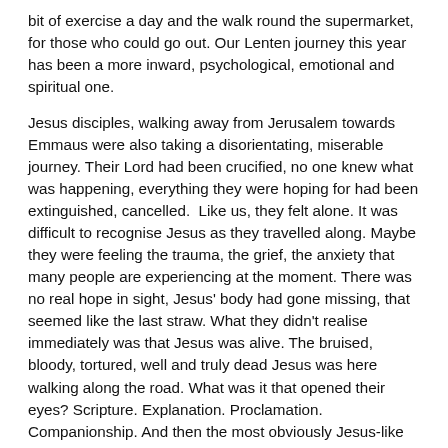bit of exercise a day and the walk round the supermarket, for those who could go out. Our Lenten journey this year has been a more inward, psychological, emotional and spiritual one.
Jesus disciples, walking away from Jerusalem towards Emmaus were also taking a disorientating, miserable journey. Their Lord had been crucified, no one knew what was happening, everything they were hoping for had been extinguished, cancelled.  Like us, they felt alone. It was difficult to recognise Jesus as they travelled along. Maybe they were feeling the trauma, the grief, the anxiety that many people are experiencing at the moment. There was no real hope in sight, Jesus' body had gone missing, that seemed like the last straw. What they didn't realise immediately was that Jesus was alive. The bruised, bloody, tortured, well and truly dead Jesus was here walking along the road. What was it that opened their eyes? Scripture. Explanation. Proclamation. Companionship. And then the most obviously Jesus-like thing that was the dead giveaway. Sacrament. When he broke the bread.
We will have to wait before joining together in church to break the bread together. That's painful, especially at Easter. But what we celebrate this week is that good is stronger than evil, love is stronger than hate, light is stronger than darkness, life is stronger than death. Victory is ours, through him who loves us. And hope